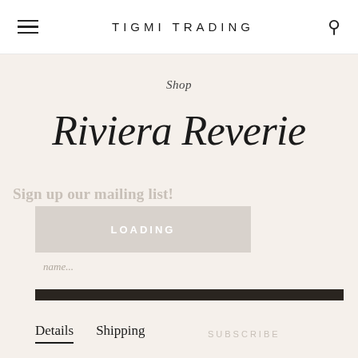TIGMI TRADING
Shop
Riviera Reverie
Sign up our mailing list!
LOADING
ADD TO CART
Details   Shipping